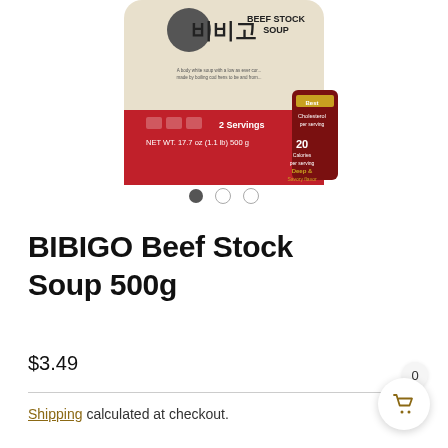[Figure (photo): BIBIGO Beef Stock Soup 500g product package. The pouch has a beige/cream top with Korean text and 'BIBIGO BEEF STOCK SOUP' in English, and a red bottom section showing '2 Servings' and 'NET WT. 17.7 oz (1.1 lb) 500 g'. A small dark red packet is shown on the right side of the package.]
[Figure (other): Three image carousel navigation dots: first dot filled/dark (active), second and third dots are empty circles (inactive).]
BIBIGO Beef Stock Soup 500g
$3.49
Shipping calculated at checkout.